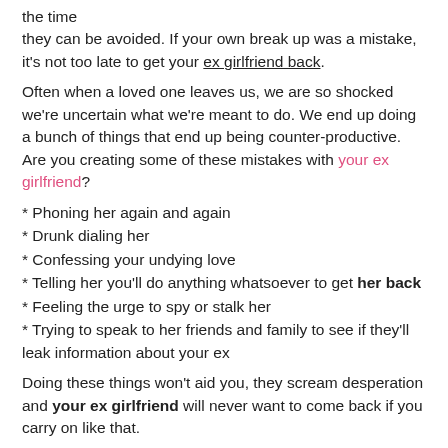the time they can be avoided. If your own break up was a mistake, it's not too late to get your ex girlfriend back.
Often when a loved one leaves us, we are so shocked we're uncertain what we're meant to do. We end up doing a bunch of things that end up being counter-productive. Are you creating some of these mistakes with your ex girlfriend?
* Phoning her again and again
* Drunk dialing her
* Confessing your undying love
* Telling her you'll do anything whatsoever to get her back
* Feeling the urge to spy or stalk her
* Trying to speak to her friends and family to see if they'll leak information about your ex
Doing these things won't aid you, they scream desperation and your ex girlfriend will never want to come back if you carry on like that.